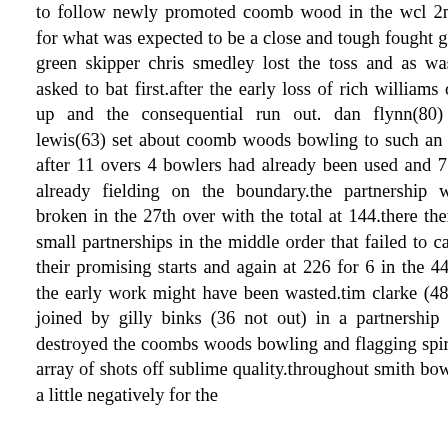to follow newly promoted coomb wood in the wcl 2nd division for what was expected to be a close and tough fought game. again green skipper chris smedley lost the toss and as was expected asked to bat first.after the early loss of rich williams due to mix up and the consequential run out. dan flynn(80) and gary lewis(63) set about coomb woods bowling to such an extent that after 11 overs 4 bowlers had already been used and 7 men were already fielding on the boundary.the partnership was finally broken in the 27th over with the total at 144.there then followed small partnerships in the middle order that failed to capitalise on their promising starts and again at 226 for 6 in the 44th over all the early work might have been wasted.tim clarke (48) was then joined by gilly binks (36 not out) in a partnership of 67 that destroyed the coombs woods bowling and flagging spirits with an array of shots off sublime quality.throughout smith bowled well if a little negatively for the